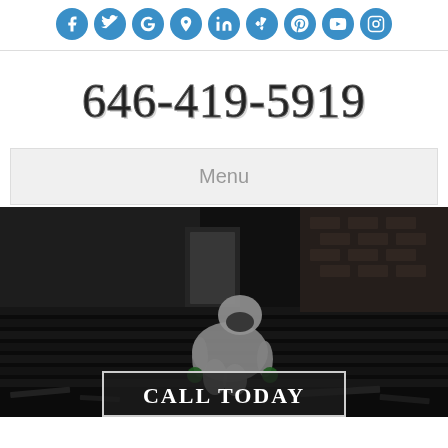[Figure (other): Row of social media icon circles (Facebook, Twitter, Google, Location pin, LinkedIn, Yelp, Pinterest, YouTube, Instagram) in blue]
646-419-5919
Menu
[Figure (photo): Worker in white hazmat suit and respirator mask working on a roof with debris and corrugated panels, dark background]
CALL TODAY